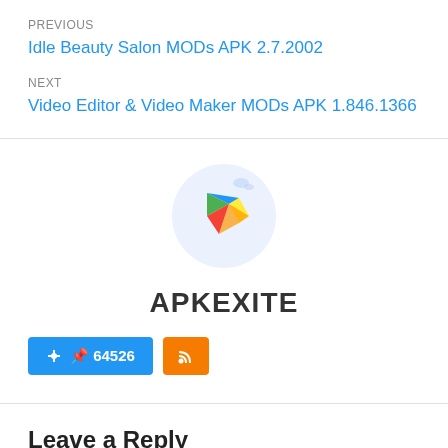PREVIOUS
Idle Beauty Salon MODs APK 2.7.2002
NEXT
Video Editor & Video Maker MODs APK 1.846.1366
[Figure (logo): Google Play Store logo in a light blue circular background]
APKEXITE
📌 64526  RSS feed button
Leave a Reply